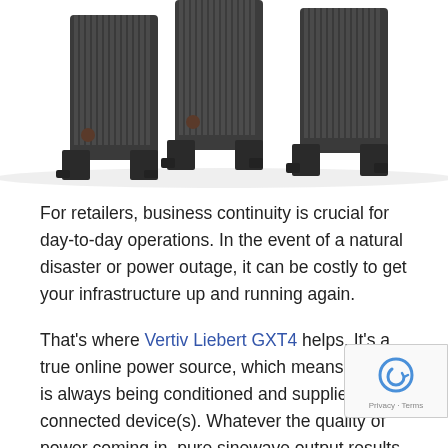[Figure (photo): Photo of Vertiv Liebert GXT4 UPS units — three dark grey tower UPS devices with ribbed casings and stabilizing feet, shown from a slightly elevated front angle against a white background.]
For retailers, business continuity is crucial for day-to-day operations. In the event of a natural disaster or power outage, it can be costly to get your infrastructure up and running again.
That's where Vertiv Liebert GXT4 helps. It's a true online power source, which means power is always being conditioned and supplied to the connected device(s). Whatever the quality of power coming in, pure sinewave output results to ensure equipment is thoroughly protected.